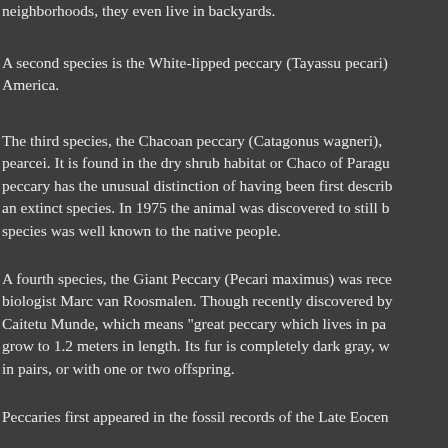neighborhoods, they even live in backyards.
A second species is the White-lipped peccary (Tayassu pecari) America.
The third species, the Chacoan peccary (Catagonus wagneri), pearcei. It is found in the dry shrub habitat or Chaco of Paragu peccary has the unusual distinction of having been first describ an extinct species. In 1975 the animal was discovered to still b species was well known to the native people.
A fourth species, the Giant Peccary (Pecari maximus) was rece biologist Marc van Roosmalen. Though recently discovered by Caitetu Munde, which means "great peccary which lives in pa grow to 1.2 meters in length. Its fur is completely dark gray, w in pairs, or with one or two offspring.
Peccaries first appeared in the fossil records of the Late Eocen